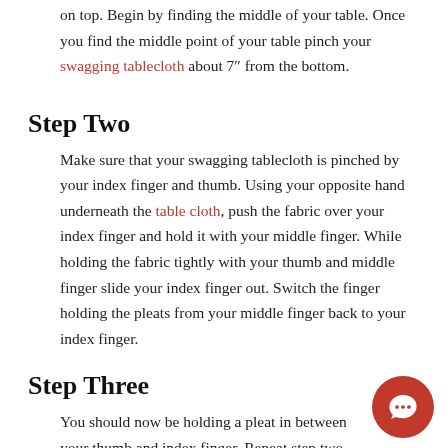on top. Begin by finding the middle of your table. Once you find the middle point of your table pinch your swagging tablecloth about 7″ from the bottom.
Step Two
Make sure that your swagging tablecloth is pinched by your index finger and thumb. Using your opposite hand underneath the table cloth, push the fabric over your index finger and hold it with your middle finger. While holding the fabric tightly with your thumb and middle finger slide your index finger out. Switch the finger holding the pleats from your middle finger back to your index finger.
Step Three
You should now be holding a pleat in between your thumb and index finger. Repeat step two and put the same amount of fabric over your index...